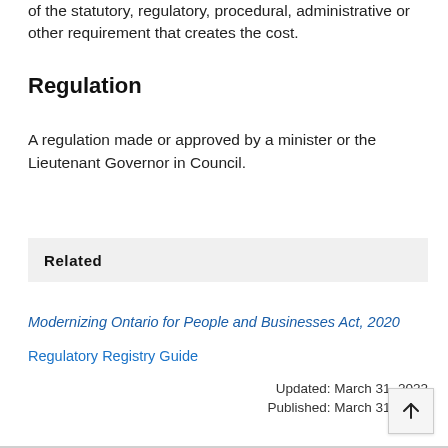of the statutory, regulatory, procedural, administrative or other requirement that creates the cost.
Regulation
A regulation made or approved by a minister or the Lieutenant Governor in Council.
Related
Modernizing Ontario for People and Businesses Act, 2020
Regulatory Registry Guide
Updated: March 31, 2022
Published: March 31, 2022